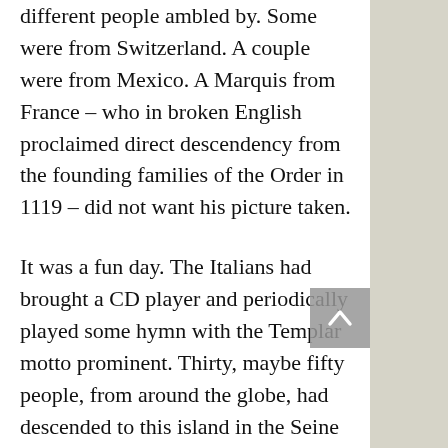different people ambled by.  Some were from Switzerland.  A couple were from Mexico.  A Marquis from France – who in broken English proclaimed direct descendency from the founding families of the Order in 1119 – did not want his picture taken.
It was a fun day.  The Italians had brought a CD player and periodically played some hymn with the Templar motto prominent.  Thirty, maybe fifty people, from around the globe, had descended to this island in the Seine to commemorate one man, dead, but not forgotten.  A small pile of flowers was growing on the steps under the plaque on the wall.  Hour after hour, people would come down, drop off a rose, say